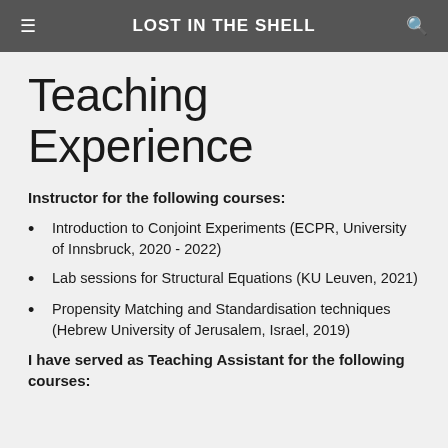LOST IN THE SHELL
Teaching Experience
Instructor for the following courses:
Introduction to Conjoint Experiments (ECPR, University of Innsbruck, 2020 - 2022)
Lab sessions for Structural Equations (KU Leuven, 2021)
Propensity Matching and Standardisation techniques (Hebrew University of Jerusalem, Israel, 2019)
I have served as Teaching Assistant for the following courses: